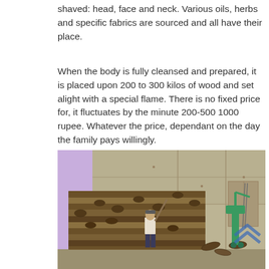shaved: head, face and neck. Various oils, herbs and specific fabrics are sourced and all have their place.
When the body is fully cleansed and prepared, it is placed upon 200 to 300 kilos of wood and set alight with a special flame. There is no fixed price for, it fluctuates by the minute 200-500 1000 rupee. Whatever the price, dependant on the day the family pays willingly.
[Figure (photo): A large pile of stacked logs/wood inside what appears to be a cremation facility. A person in a white shirt stands next to the wood pile holding a long pole. A teal/green crane or machine is visible on the right side. The left wall is purple/lavender colored, the back wall is concrete grey. A blue chevron logo watermark is visible in the lower right corner.]